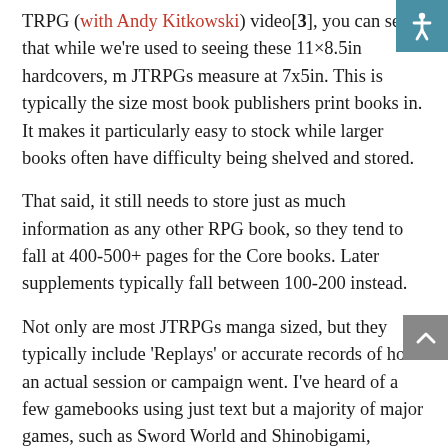TRPG (with Andy Kitkowski) video[3], you can see that while we're used to seeing these 11×8.5in hardcovers, most JTRPGs measure at 7x5in. This is typically the size most book publishers print books in. It makes it particularly easy to stock while larger books often have difficulty being shelved and stored.
That said, it still needs to store just as much information as any other RPG book, so they tend to fall at 400-500+ pages for the Core books. Later supplements typically fall between 100-200 instead.
Not only are most JTRPGs manga sized, but they typically include 'Replays' or accurate records of how an actual session or campaign went. I've heard of a few gamebooks using just text but a majority of major games, such as Sword World and Shinobigami, majorly depict it in the manga. This doesn't even include the introductory manga pages teaching folks how to play.